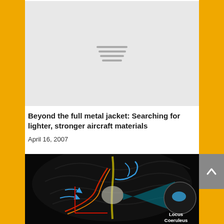[Figure (other): Gray placeholder image with three horizontal lines (hamburger/loading indicator) centered in the image area]
Beyond the full metal jacket: Searching for lighter, stronger aircraft materials
April 16, 2007
[Figure (illustration): Medical illustration of human brain anatomy showing neural pathways with colored arrows (blue, red, orange) and a magnified inset circle highlighting the Locus Coeruleus region, labeled 'Locus Coeruleus']